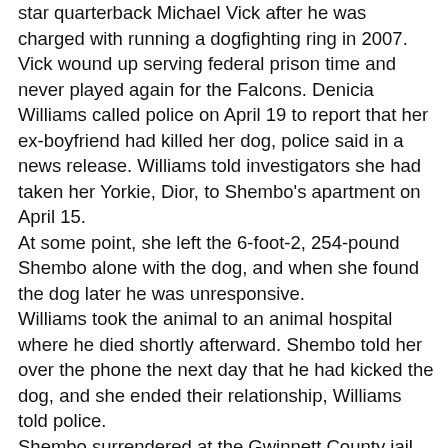star quarterback Michael Vick after he was charged with running a dogfighting ring in 2007. Vick wound up serving federal prison time and never played again for the Falcons. Denicia Williams called police on April 19 to report that her ex-boyfriend had killed her dog, police said in a news release. Williams told investigators she had taken her Yorkie, Dior, to Shembo's apartment on April 15. At some point, she left the 6-foot-2, 254-pound Shembo alone with the dog, and when she found the dog later he was unresponsive. Williams took the animal to an animal hospital where he died shortly afterward. Shembo told her over the phone the next day that he had kicked the dog, and she ended their relationship, Williams told police. Shembo surrendered at the Gwinnett County jail Friday night and his bond was set at $16,700 according to county records. Attorney Jerry Froelich told reporters that Shembo said he was putting the dog in its cage and he kicked it after it bit his hand.